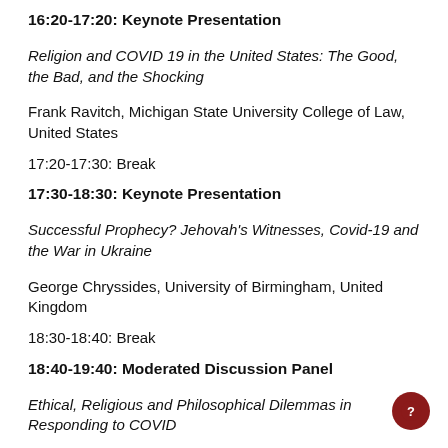16:20-17:20: Keynote Presentation
Religion and COVID 19 in the United States: The Good, the Bad, and the Shocking
Frank Ravitch, Michigan State University College of Law, United States
17:20-17:30: Break
17:30-18:30: Keynote Presentation
Successful Prophecy? Jehovah's Witnesses, Covid-19 and the War in Ukraine
George Chryssides, University of Birmingham, United Kingdom
18:30-18:40: Break
18:40-19:40: Moderated Discussion Panel
Ethical, Religious and Philosophical Dilemmas in Responding to COVID